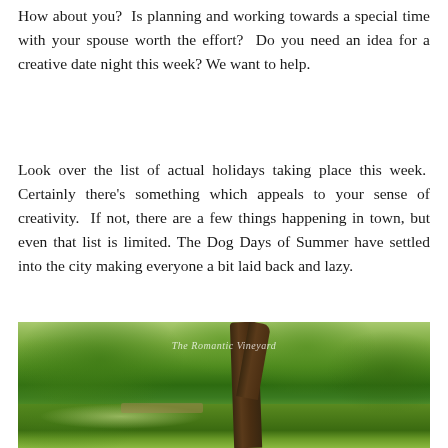How about you?  Is planning and working towards a special time with your spouse worth the effort?  Do you need an idea for a creative date night this week? We want to help.
Look over the list of actual holidays taking place this week.  Certainly there's something which appeals to your sense of creativity.  If not, there are a few things happening in town, but even that list is limited. The Dog Days of Summer have settled into the city making everyone a bit laid back and lazy.
[Figure (photo): Outdoor park scene with a large tree trunk in the foreground, lush green foliage, and a garden bench visible in the background. Watermark reads 'The Romantic Vineyard'.]